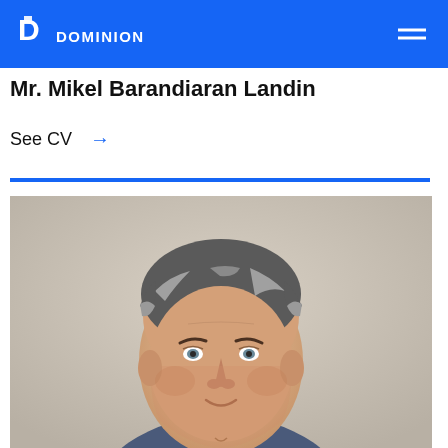DOMINION
Mr. Mikel Barandiaran Landin
See CV →
[Figure (photo): Professional headshot of Mr. Mikel Barandiaran Landin, a middle-aged man with grey-streaked dark hair, wearing a suit and white shirt, photographed against a light grey/beige background.]